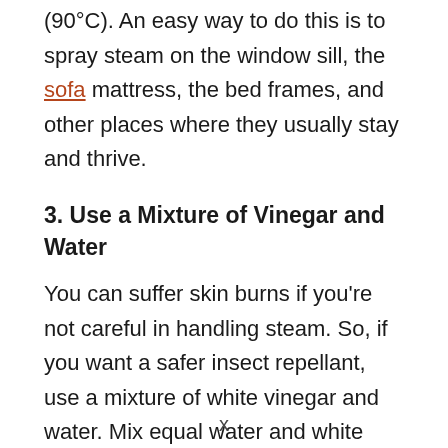(90°C). An easy way to do this is to spray steam on the window sill, the sofa mattress, the bed frames, and other places where they usually stay and thrive.
3. Use a Mixture of Vinegar and Water
You can suffer skin burns if you're not careful in handling steam. So, if you want a safer insect repellant, use a mixture of white vinegar and water. Mix equal water and white vinegar parts and spray it on the window sill with a bug infestation. This will eradicate the present colony and discourage the formation
x